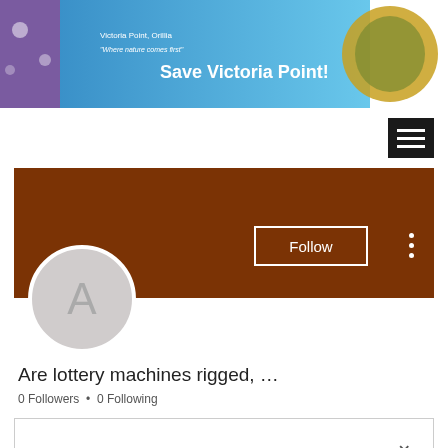[Figure (screenshot): Website banner for 'Save Victoria Point!' showing a nature-themed header with text 'Victoria Point, Orillia' and '"Where nature comes first"' and 'Save Victoria Point!' in bold white text, with a sea turtle graphic on the right and purple floral on the left on a blue gradient background]
[Figure (screenshot): Black hamburger menu icon (three horizontal white lines on black background)]
[Figure (screenshot): Brown profile banner with a Follow button (white outlined rectangle) and three vertical dots menu icon]
[Figure (screenshot): Circular gray avatar placeholder with letter 'A' in gray]
Are lottery machines rigged, …
0 Followers • 0 Following
[Figure (screenshot): Dropdown/collapsible box with a chevron (down arrow) on the right side]
Profile
Join date: Apr 8, 2022